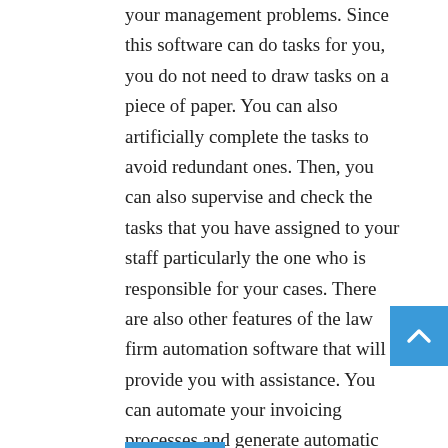your management problems. Since this software can do tasks for you, you do not need to draw tasks on a piece of paper. You can also artificially complete the tasks to avoid redundant ones. Then, you can also supervise and check the tasks that you have assigned to your staff particularly the one who is responsible for your cases. There are also other features of the law firm automation software that will provide you with assistance. You can automate your invoicing processes and generate automatic notifications and reports.

When you are ready to purchase law firm automation software, you should ensure that it is worth your money.